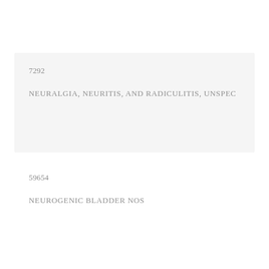7292
NEURALGIA, NEURITIS, AND RADICULITIS, UNSPEC
59654
NEUROGENIC BLADDER NOS